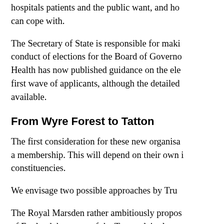hospitals patients and the public want, and how it can cope with.
The Secretary of State is responsible for making conduct of elections for the Board of Governors. Health has now published guidance on the election first wave of applicants, although the detailed available.
From Wyre Forest to Tatton
The first consideration for these new organisations a membership. This will depend on their own constituencies.
We envisage two possible approaches by Trusts.
The Royal Marsden rather ambitiously proposes of England, but most of the Trusts claim less that specifies that there must be a minimum number constituency, but doesn't say what happens if it